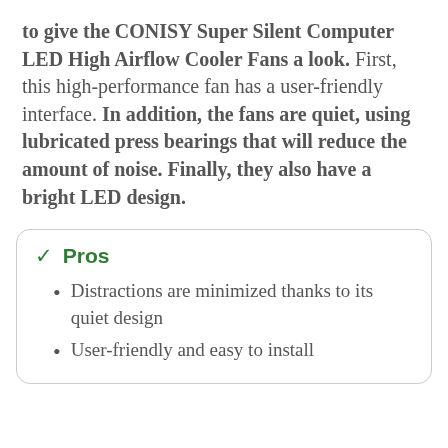to give the CONISY Super Silent Computer LED High Airflow Cooler Fans a look. First, this high-performance fan has a user-friendly interface. In addition, the fans are quiet, using lubricated press bearings that will reduce the amount of noise. Finally, they also have a bright LED design.
✓ Pros
Distractions are minimized thanks to its quiet design
User-friendly and easy to install